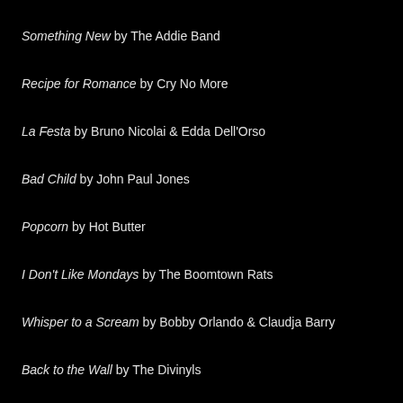Something New by The Addie Band
Recipe for Romance by Cry No More
La Festa by Bruno Nicolai & Edda Dell'Orso
Bad Child by John Paul Jones
Popcorn by Hot Butter
I Don't Like Mondays by The Boomtown Rats
Whisper to a Scream by Bobby Orlando & Claudja Barry
Back to the Wall by The Divinyls